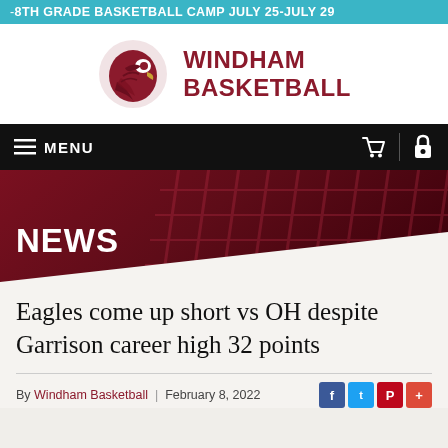8TH GRADE BASKETBALL CAMP JULY 25-JULY 29
[Figure (logo): Windham Basketball logo with eagle mascot head in dark red and text WINDHAM BASKETBALL]
MENU
[Figure (illustration): NEWS section banner with dark red maroon background and basketball net texture pattern, white text NEWS]
Eagles come up short vs OH despite Garrison career high 32 points
By Windham Basketball | February 8, 2022